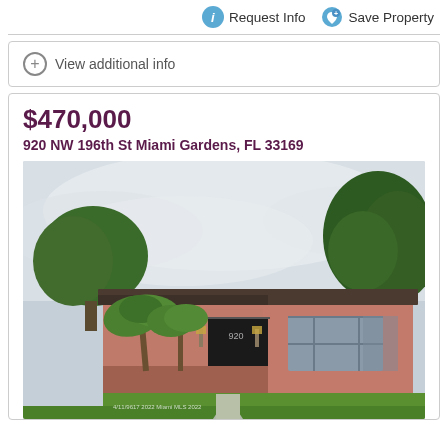Request Info   Save Property
View additional info
$470,000
920 NW 196th St Miami Gardens, FL 33169
[Figure (photo): Exterior photo of a single-story pink/salmon colored house with dark roof, front door with lantern lights, palm trees in front yard, green lawn, concrete walkway, cloudy sky background. Small watermark text in lower left corner.]